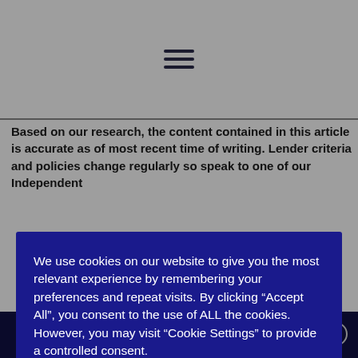≡
Based on our research, the content contained in this article is accurate as of most recent time of writing. Lender criteria and policies change regularly so speak to one of our Independent
We use cookies on our website to give you the most relevant experience by remembering your preferences and repeat visits. By clicking "Accept All", you consent to the use of ALL the cookies. However, you may visit "Cookie Settings" to provide a controlled consent.
against your home, it may be repossessed if you do not keep up with repayments on your mortgage. Equity released from your home will also be secured against it.
?